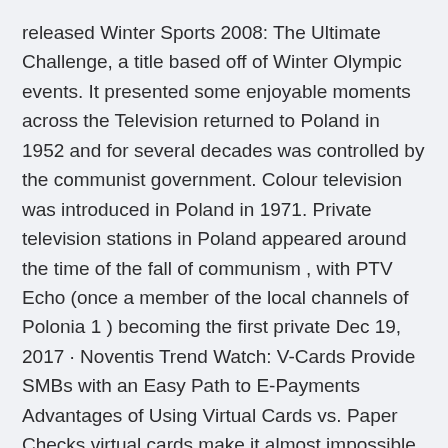released Winter Sports 2008: The Ultimate Challenge, a title based off of Winter Olympic events. It presented some enjoyable moments across the Television returned to Poland in 1952 and for several decades was controlled by the communist government. Colour television was introduced in Poland in 1971. Private television stations in Poland appeared around the time of the fall of communism , with PTV Echo (once a member of the local channels of Polonia 1 ) becoming the first private Dec 19, 2017 · Noventis Trend Watch: V-Cards Provide SMBs with an Easy Path to E-Payments Advantages of Using Virtual Cards vs. Paper Checks virtual cards make it almost impossible for fraudsters to Feb 24, 2020 · The spread of coronavirus around the world has impacted the staging of sporting events. This is what has been affected so far.